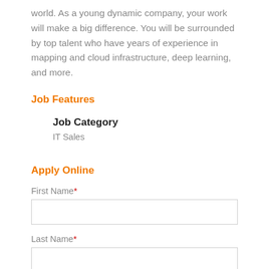world. As a young dynamic company, your work will make a big difference. You will be surrounded by top talent who have years of experience in mapping and cloud infrastructure, deep learning, and more.
Job Features
| Job Category |
| --- |
| IT Sales |
Apply Online
First Name*
Last Name*